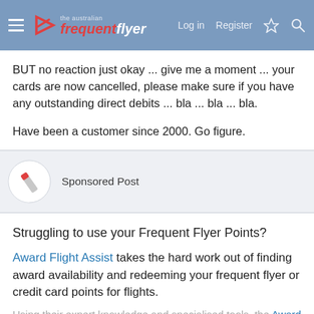the Australian frequent flyer — Log in  Register
BUT no reaction just okay ... give me a moment ... your cards are now cancelled, please make sure if you have any outstanding direct debits ... bla ... bla ... bla.
Have been a customer since 2000. Go figure.
Sponsored Post
Struggling to use your Frequent Flyer Points?
Award Flight Assist takes the hard work out of finding award availability and redeeming your frequent flyer or credit card points for flights.
Using their expert knowledge and specialised tools, the Award Flight Assist...